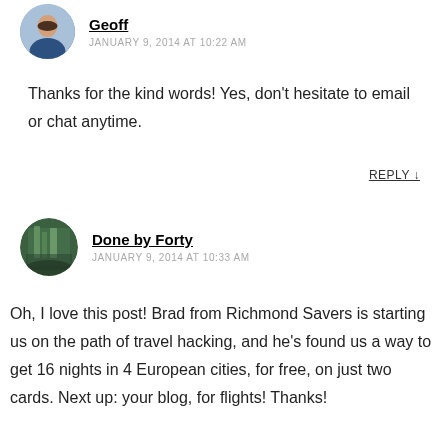[Figure (photo): Round avatar photo of Geoff, a person in a suit]
Geoff
JANUARY 9, 2014 AT 10:22 AM
Thanks for the kind words! Yes, don't hesitate to email or chat anytime.
REPLY ↓
[Figure (photo): Round avatar photo of Done by Forty, showing a building or outdoor scene]
Done by Forty
JANUARY 9, 2014 AT 10:33 AM
Oh, I love this post! Brad from Richmond Savers is starting us on the path of travel hacking, and he's found us a way to get 16 nights in 4 European cities, for free, on just two cards. Next up: your blog, for flights! Thanks!
REPLY ↓